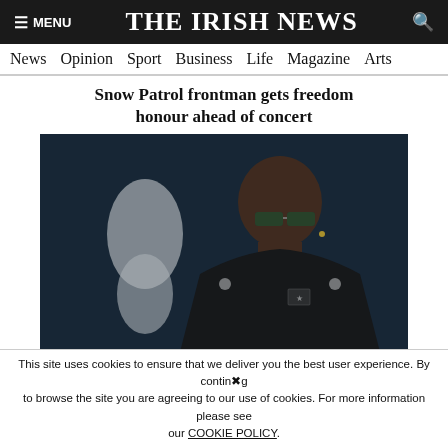≡ MENU  THE IRISH NEWS  🔍
News  Opinion  Sport  Business  Life  Magazine  Arts
Snow Patrol frontman gets freedom honour ahead of concert
[Figure (photo): A bald Black man wearing sunglasses and a dark military-style jacket, leaning against a dark surface with a white graphic/silhouette on it]
Prosecution rests in R Kelly's trial-fixing and child pornography case
This site uses cookies to ensure that we deliver you the best user experience. By continuing to browse the site you are agreeing to our use of cookies. For more information please see our COOKIE POLICY.